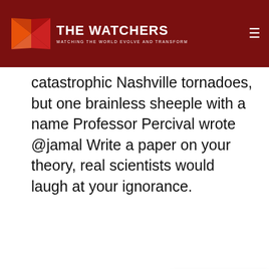THE WATCHERS — WATCHING THE WORLD EVOLVE AND TRANSFORM
catastrophic Nashville tornadoes, but one brainless sheeple with a name Professor Percival wrote @jamal Write a paper on your theory, real scientists would laugh at your ignorance.
Log in to Rep
[Figure (logo): Circular power button style avatar icon in blue]
pr
Sun
GM
We use cookies on our website to give you the most relevant experience by remembering your preferences and repeat visits. By clicking “Accept”, you consent to the use of ALL the cookies.
Do not sell my personal information.
Cookie settings
Accept